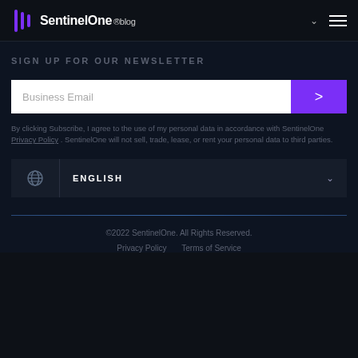[Figure (logo): SentinelOne blog logo with purple icon and hamburger menu on dark header]
SIGN UP FOR OUR NEWSLETTER
[Figure (other): Email subscription form with Business Email input field and purple submit arrow button]
By clicking Subscribe, I agree to the use of my personal data in accordance with SentinelOne Privacy Policy . SentinelOne will not sell, trade, lease, or rent your personal data to third parties.
[Figure (other): Language selector dropdown showing ENGLISH with globe icon]
©2022 SentinelOne. All Rights Reserved. Privacy Policy Terms of Service